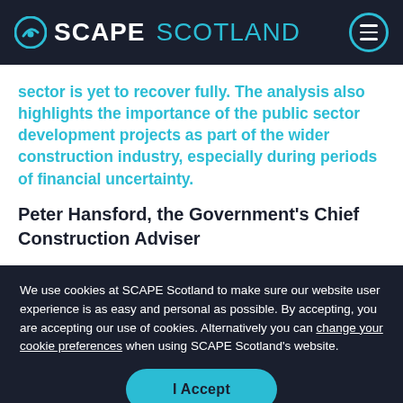SCAPE SCOTLAND
sector is yet to recover fully. The analysis also highlights the importance of the public sector development projects as part of the wider construction industry, especially during periods of financial uncertainty.
Peter Hansford, the Government's Chief Construction Adviser
We use cookies at SCAPE Scotland to make sure our website user experience is as easy and personal as possible. By accepting, you are accepting our use of cookies. Alternatively you can change your cookie preferences when using SCAPE Scotland's website.
I Accept